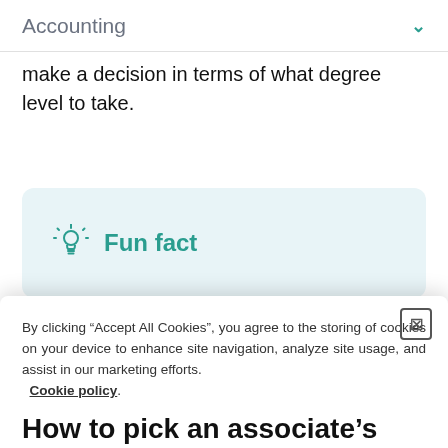Accounting
make a decision in terms of what degree level to take.
[Figure (infographic): Fun fact callout box with lightbulb icon and teal text reading 'Fun fact' on a light blue background]
By clicking “Accept All Cookies”, you agree to the storing of cookies on your device to enhance site navigation, analyze site usage, and assist in our marketing efforts. Cookie policy.
Manage cookies
Accept all cookies
How to pick an associate's